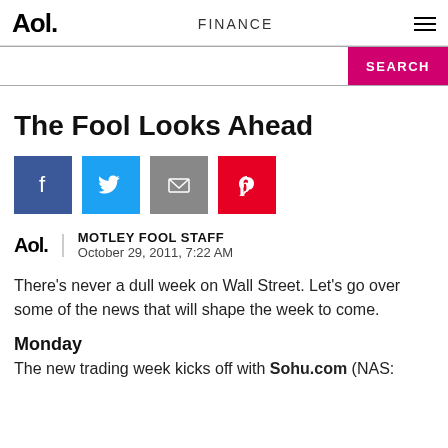Aol. FINANCE
[Figure (screenshot): Search bar with pink SEARCH button]
The Fool Looks Ahead
[Figure (infographic): Social share icons: Facebook (blue), Twitter (light blue), Email (gray), Pinterest (red)]
MOTLEY FOOL STAFF
October 29, 2011, 7:22 AM
There's never a dull week on Wall Street. Let's go over some of the news that will shape the week to come.
Monday
The new trading week kicks off with Sohu.com (NAS: